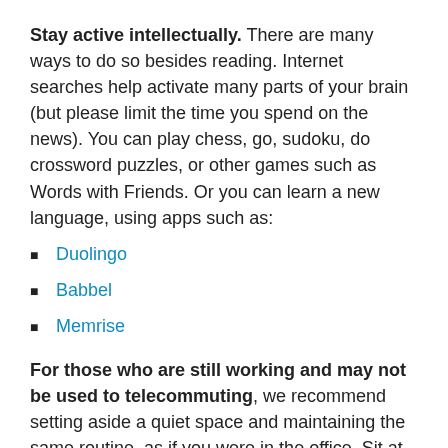Stay active intellectually. There are many ways to do so besides reading. Internet searches help activate many parts of your brain (but please limit the time you spend on the news). You can play chess, go, sudoku, do crossword puzzles, or other games such as Words with Friends. Or you can learn a new language, using apps such as:
Duolingo
Babbel
Memrise
For those who are still working and may not be used to telecommuting, we recommend setting aside a quiet space and maintaining the same routine, as if you were in the office. Sit at your desk (not in your pajamas) and get up and stretch or walk around every hour. (You can set a timer on your computer to help you do so.) Remember, cutting the commute means you are more productive, but working from home can also become “seamless,” in that you never stop. You should set a start and stop time, with clear lunch or